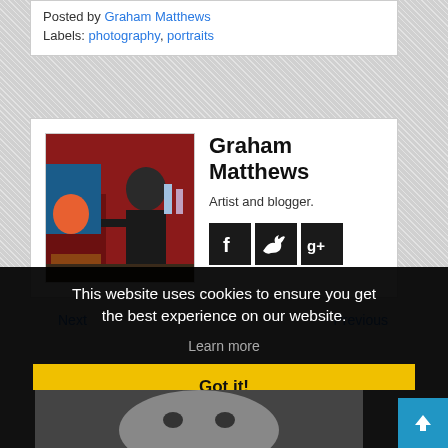Posted by Graham Matthews
Labels: photography, portraits
[Figure (photo): Photo of Graham Matthews painting in a studio with red walls and colorful artwork]
Graham Matthews
Artist and blogger.
[Figure (other): Social media icons: Facebook, Twitter, Google+]
Next
Previous
This website uses cookies to ensure you get the best experience on our website.
Learn more
Got it!
[Figure (photo): Partial photo of a person's face at the bottom of the page]